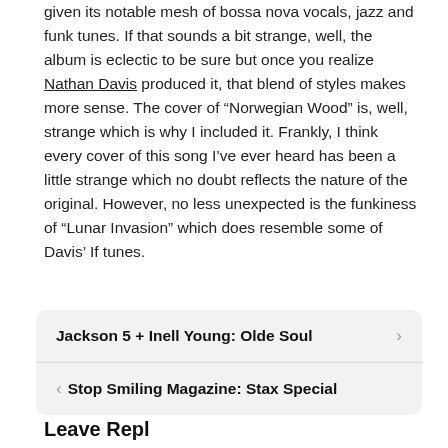given its notable mesh of bossa nova vocals, jazz and funk tunes. If that sounds a bit strange, well, the album is eclectic to be sure but once you realize Nathan Davis produced it, that blend of styles makes more sense. The cover of “Norwegian Wood” is, well, strange which is why I included it. Frankly, I think every cover of this song I’ve ever heard has been a little strange which no doubt reflects the nature of the original. However, no less unexpected is the funkiness of “Lunar Invasion” which does resemble some of Davis’ If tunes.
Jackson 5 + Inell Young: Olde Soul
Stop Smiling Magazine: Stax Special
Leave Repl